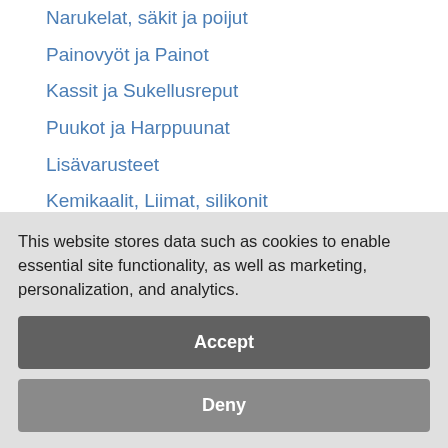Narukelat, säkit ja poijut
Painovyöt ja Painot
Kassit ja Sukellusreput
Puukot ja Harppuunat
Lisävarusteet
Kemikaalit, Liimat, silikonit
Letkut
Sukelluskirjat, kurssit, videot
Poistotuotteet
Käytetyt varusteet
Suojalaukut ja Aselaukut
Kompressorit ja tarvikkeet
This website stores data such as cookies to enable essential site functionality, as well as marketing, personalization, and analytics.
Accept
Deny